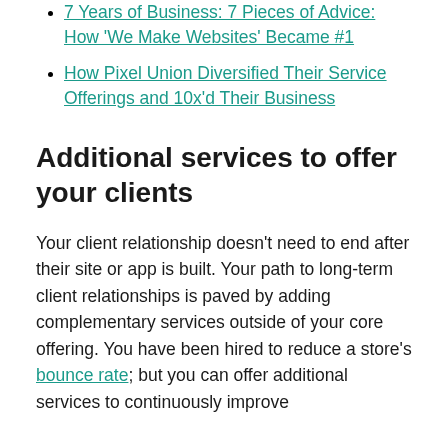7 Years of Business: 7 Pieces of Advice: How 'We Make Websites' Became #1
How Pixel Union Diversified Their Service Offerings and 10x'd Their Business
Additional services to offer your clients
Your client relationship doesn't need to end after their site or app is built. Your path to long-term client relationships is paved by adding complementary services outside of your core offering. You have been hired to reduce a store's bounce rate; but you can offer additional services to continuously improve